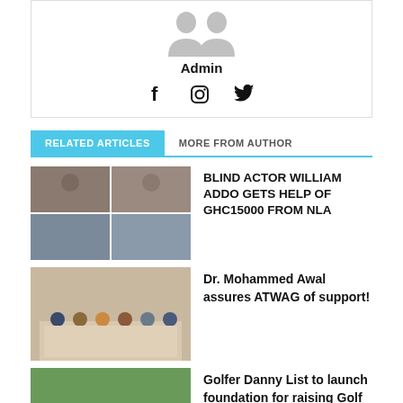[Figure (illustration): Author avatar placeholder – two grey silhouette figures side by side]
Admin
[Figure (illustration): Social media icons: Facebook, Instagram, Twitter]
RELATED ARTICLES | MORE FROM AUTHOR
BLIND ACTOR WILLIAM ADDO GETS HELP OF GHC15000 FROM NLA
Dr. Mohammed Awal assures ATWAG of support!
Golfer Danny List to launch foundation for raising Golf talents among children